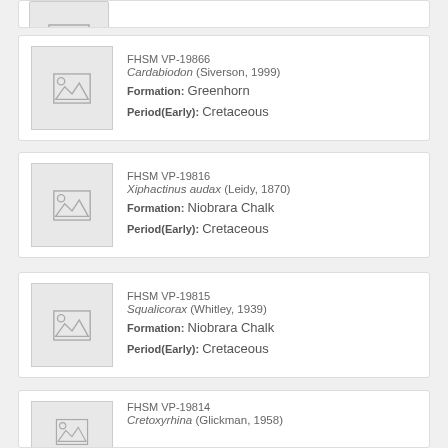[Figure (photo): Partial card at top showing specimen image placeholder]
FHSM VP-19866
Cardabiodon (Siverson, 1999)
Formation: Greenhorn
Period(Early): Cretaceous
[Figure (photo): Image placeholder for FHSM VP-19866]
FHSM VP-19816
Xiphactinus audax (Leidy, 1870)
Formation: Niobrara Chalk
Period(Early): Cretaceous
[Figure (photo): Image placeholder for FHSM VP-19816]
FHSM VP-19815
Squalicorax (Whitley, 1939)
Formation: Niobrara Chalk
Period(Early): Cretaceous
[Figure (photo): Image placeholder for FHSM VP-19815]
FHSM VP-19814